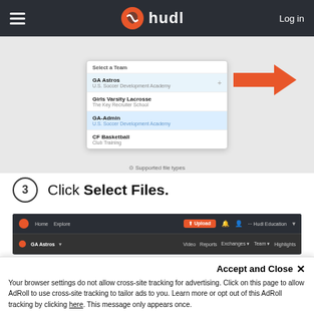[Figure (screenshot): Hudl navigation bar with hamburger menu, orange Hudl logo and wordmark, and Log in button on dark background]
[Figure (screenshot): Hudl Select a Team dropdown menu showing options: GA Astros (U.S. Soccer Development Academy), Girls Varsity Lacrosse, GA-Admin, CF Basketball, with an orange arrow annotation pointing to GA Astros entry]
3  Click Select Files.
[Figure (screenshot): Hudl platform interface showing dark navigation bar with Upload button highlighted in orange, notification icons, team name GA Astros, and menu items: Video, Reports, Exchanges, Team, Highlights]
Accept and Close ×
Your browser settings do not allow cross-site tracking for advertising. Click on this page to allow AdRoll to use cross-site tracking to tailor ads to you. Learn more or opt out of this AdRoll tracking by clicking here. This message only appears once.